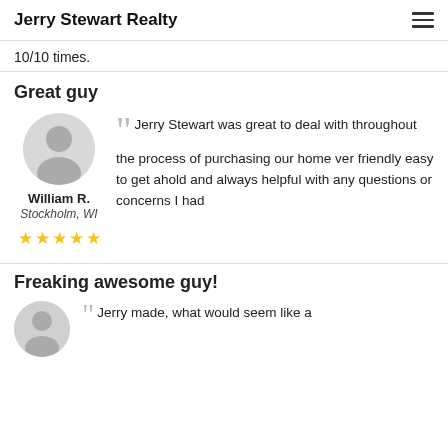Jerry Stewart Realty
10/10 times.
Great guy
[Figure (illustration): Circular avatar placeholder with gray silhouette of a person]
William R.
Stockholm, WI
[Figure (other): Five yellow star rating icons]
Jerry Stewart was great to deal with throughout the process of purchasing our home ver friendly easy to get ahold and always helpful with any questions or concerns I had
Freaking awesome guy!
[Figure (illustration): Circular avatar placeholder with gray silhouette of a person]
Jerry made, what would seem like a